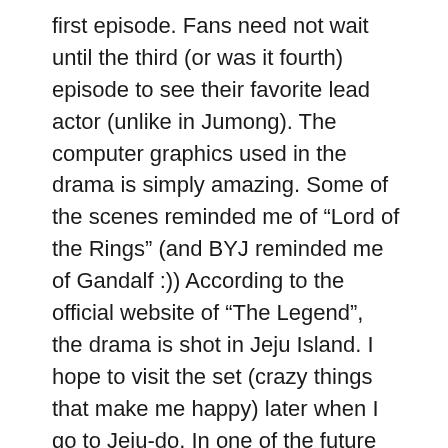first episode. Fans need not wait until the third (or was it fourth) episode to see their favorite lead actor (unlike in Jumong). The computer graphics used in the drama is simply amazing. Some of the scenes reminded me of “Lord of the Rings” (and BYJ reminded me of Gandalf :)) According to the official website of “The Legend”, the drama is shot in Jeju Island. I hope to visit the set (crazy things that make me happy) later when I go to Jeju-do. In one of the future scenes, they show the young BYJ amidst green tea plants and that’s probably in Boseong Cha-bat (been there!). Anyway, the drama is shown Tuesdays, Wednesdays and Thursdays at 9:50 PM, right after the news. And it’s on now...
Here are some links you might want to visit...
Tae Wang Sa Shin Gi’s official MBC website